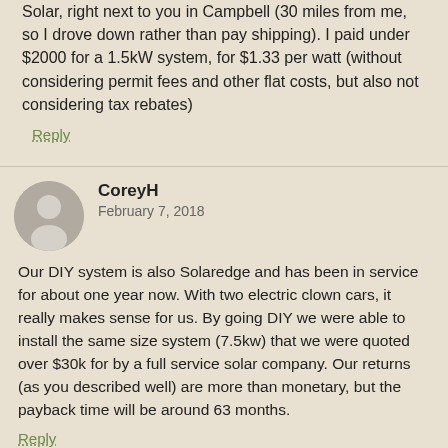Solar, right next to you in Campbell (30 miles from me, so I drove down rather than pay shipping). I paid under $2000 for a 1.5kW system, for $1.33 per watt (without considering permit fees and other flat costs, but also not considering tax rebates)
Reply
CoreyH
February 7, 2018
Our DIY system is also Solaredge and has been in service for about one year now. With two electric clown cars, it really makes sense for us. By going DIY we were able to install the same size system (7.5kw) that we were quoted over $30k for by a full service solar company. Our returns (as you described well) are more than monetary, but the payback time will be around 63 months.
Reply
Mr. Money Mustache
February 8, 2018
Nice work Corey! And double points for STILL making fun of yourself, even after upgrading to electric cars :)